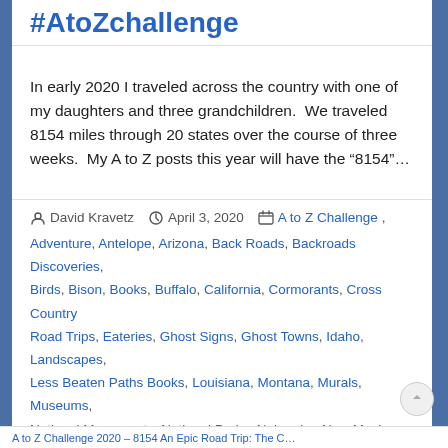#AtoZchallenge
In early 2020 I traveled across the country with one of my daughters and three grandchildren.  We traveled 8154 miles through 20 states over the course of three weeks.  My A to Z posts this year will have the “8154”…
David Kravetz   April 3, 2020   A to Z Challenge, Adventure, Antelope, Arizona, Back Roads, Backroads Discoveries, Birds, Bison, Books, Buffalo, California, Cormorants, Cross Country Road Trips, Eateries, Ghost Signs, Ghost Towns, Idaho, Landscapes, Less Beaten Paths Books, Louisiana, Montana, Murals, Museums, National Monuments, National Parks, Nebraska, New Mexico, Offbeat Places, Oregon, Place Names, Pronghorn Antelope, Quirky Things, Roadside Attractions, Roadsigns, Route 66, Selfies, South Dakota, Texas, Tourist Traps, Town Names, Travel with grandchildren, Unexpected Discoveries, Unique Eatery, Unique Places, US Highway 101, US Highway 2, US Highway 70, Vintage Neon, Wall Art, Washington, Water Towers, Welcome Signs, Wyoming
A to Z Challenge 2020 – 8154 An Epic Road Trip: The C…